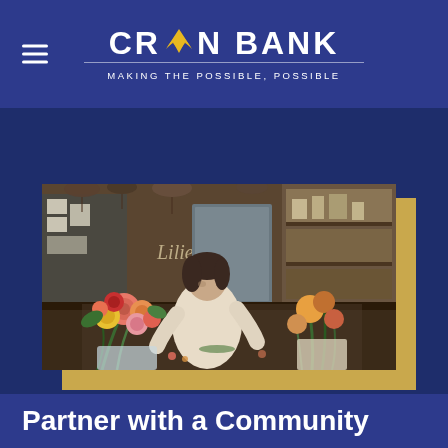[Figure (logo): Crown Bank logo with hamburger menu icon on the left. Logo shows 'CROWN BANK' text in white with a gold crown icon replacing the 'W'. Tagline reads 'MAKING THE POSSIBLE, POSSIBLE' in white letters below a horizontal divider line. Dark blue background.]
[Figure (photo): A woman arranging colorful flowers (dahlias, roses) in a floral shop. The shop has dried flowers hanging from the ceiling, shelves with supplies in the background. The image has a gold/tan shadow box offset behind it. Dark blue background surrounding the photo.]
Partner with a Community